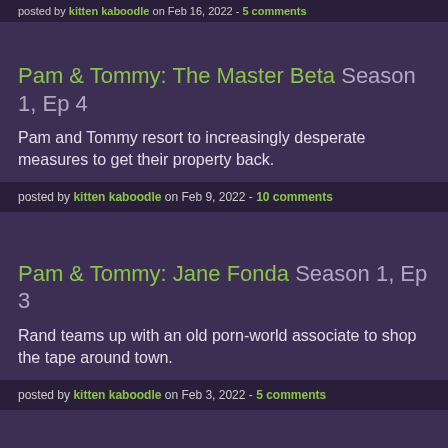posted by kitten kaboodle on Feb 16, 2022 - 5 comments
Pam & Tommy: The Master Beta Season 1, Ep 4
Pam and Tommy resort to increasingly desperate measures to get their property back.
posted by kitten kaboodle on Feb 9, 2022 - 10 comments
Pam & Tommy: Jane Fonda Season 1, Ep 3
Rand teams up with an old porn-world associate to shop the tape around town.
posted by kitten kaboodle on Feb 3, 2022 - 5 comments
Pam & Tommy: I Love You, Tommy Season 1, Ep 2